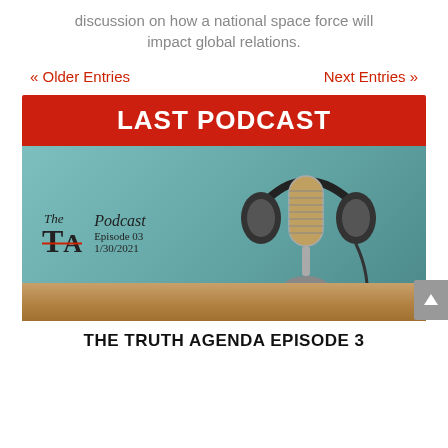discussion on how a national space force will impact global relations.
« Older Entries    Next Entries »
LAST PODCAST
[Figure (photo): Podcast promotional image showing a vintage microphone with headphones on a wooden table against a teal background. Text reads: The TA Podcast Episode 03 1/30/2021]
THE TRUTH AGENDA EPISODE 3